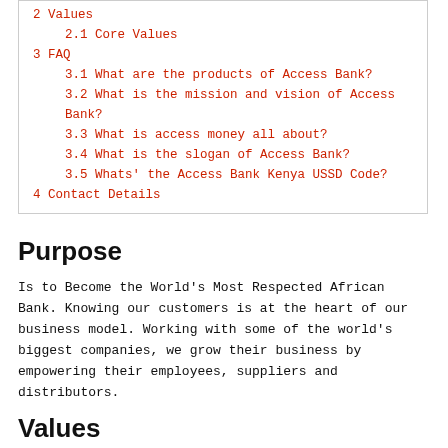2 Values
2.1 Core Values
3 FAQ
3.1 What are the products of Access Bank?
3.2 What is the mission and vision of Access Bank?
3.3 What is access money all about?
3.4 What is the slogan of Access Bank?
3.5 Whats' the Access Bank Kenya USSD Code?
4 Contact Details
Purpose
Is to Become the World's Most Respected African Bank. Knowing our customers is at the heart of our business model. Working with some of the world's biggest companies, we grow their business by empowering their employees, suppliers and distributors.
Values